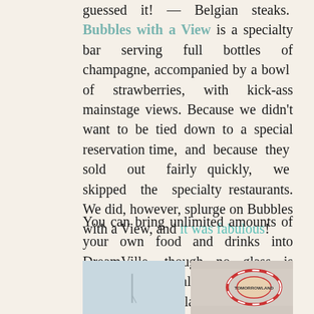guessed it! — Belgian steaks. Bubbles with a View is a specialty bar serving full bottles of champagne, accompanied by a bowl of strawberries, with kick-ass mainstage views. Because we didn't want to be tied down to a special reservation time, and because they sold out fairly quickly, we skipped the specialty restaurants. We did, however, splurge on Bubbles with a View, and it was fabulous!
You can bring unlimited amounts of your own food and drinks into DreamVille, though no glass is permitted — alcohol must be transferred into plastic bottles. Also be aware that ice is not sold on site.
[Figure (photo): Left photo showing a tall pole or structure against a light grey sky]
[Figure (photo): Right photo showing a colorful carnival-style ride or attraction with red and white striped decoration]